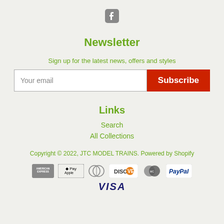[Figure (logo): Facebook logo icon in gray]
Newsletter
Sign up for the latest news, offers and styles
[Figure (other): Email input field with Subscribe button]
Links
Search
All Collections
Copyright © 2022, JTC MODEL TRAINS. Powered by Shopify
[Figure (other): Payment icons: American Express, Apple Pay, Diners Club, Discover, Mastercard, PayPal, Visa]